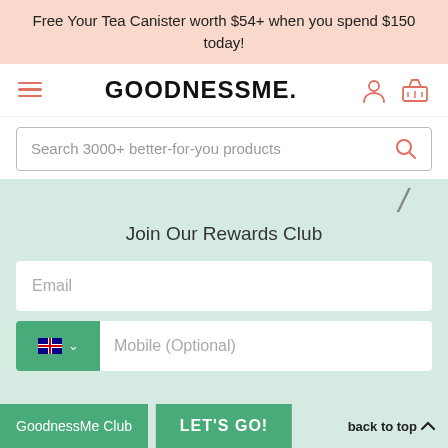Free Your Tea Canister worth $54+ when you spend $150 today!
[Figure (screenshot): GoodnessMe website header with hamburger menu, logo, user icon, and basket icon]
Search 3000+ better-for-you products
Join Our Rewards Club
Email
Mobile (Optional)
GoodnessMe Club
LET'S GO!
back to top